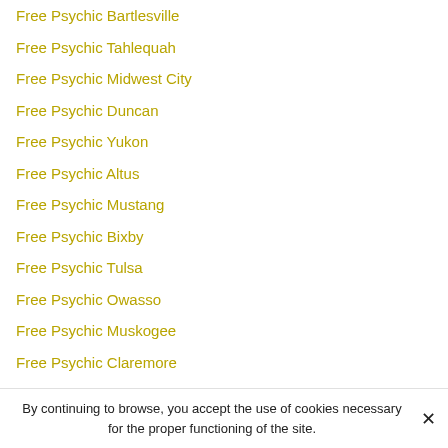Free Psychic Bartlesville
Free Psychic Tahlequah
Free Psychic Midwest City
Free Psychic Duncan
Free Psychic Yukon
Free Psychic Altus
Free Psychic Mustang
Free Psychic Bixby
Free Psychic Tulsa
Free Psychic Owasso
Free Psychic Muskogee
Free Psychic Claremore
Free Psychic Durant
By continuing to browse, you accept the use of cookies necessary for the proper functioning of the site.